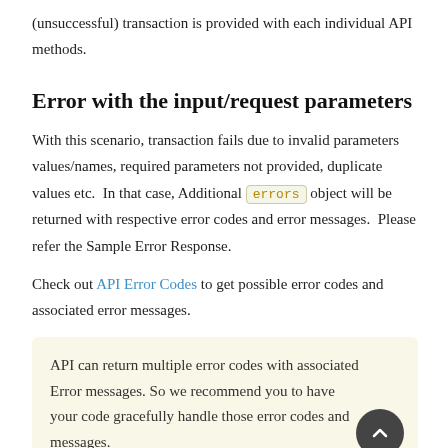(unsuccessful) transaction is provided with each individual API methods.
Error with the input/request parameters
With this scenario, transaction fails due to invalid parameters values/names, required parameters not provided, duplicate values etc.  In that case, Additional errors object will be returned with respective error codes and error messages.  Please refer the Sample Error Response.
Check out API Error Codes to get possible error codes and associated error messages.
API can return multiple error codes with associated Error messages. So we recommend you to have your code gracefully handle those error codes and messages.